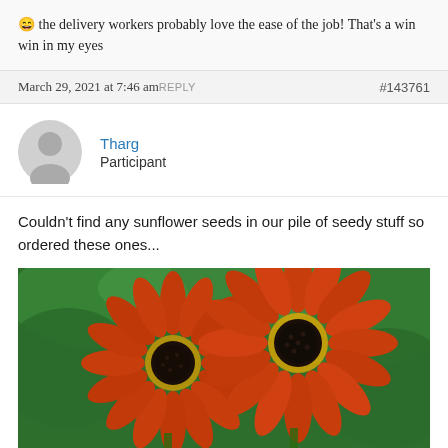😄 the delivery workers probably love the ease of the job! That's a win win in my eyes
March 29, 2021 at 7:46 am REPLY #143761
Tharg
Participant
Couldn't find any sunflower seeds in our pile of seedy stuff so ordered these ones...
[Figure (photo): Two red/orange sunflowers with dark centers against a green leafy background]